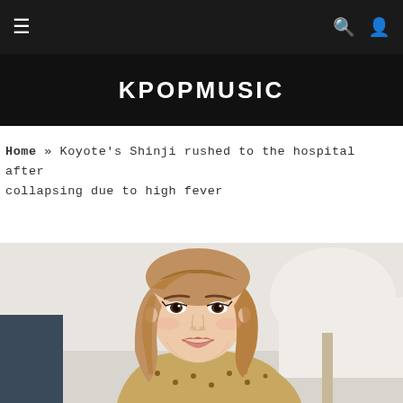KPOPMUSIC
Home » Koyote's Shinji rushed to the hospital after collapsing due to high fever
[Figure (photo): Photo of Koyote member Shinji, a young Korean woman with light brown wavy hair, smiling, wearing a patterned top, indoor background with white walls and blue accent]